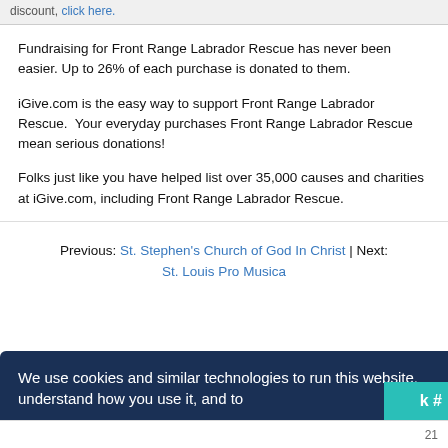discount, click here.
Fundraising for Front Range Labrador Rescue has never been easier. Up to 26% of each purchase is donated to them.
iGive.com is the easy way to support Front Range Labrador Rescue.  Your everyday purchases Front Range Labrador Rescue mean serious donations!
Folks just like you have helped list over 35,000 causes and charities at iGive.com, including Front Range Labrador Rescue.
Previous: St. Stephen's Church of God In Christ | Next: St. Louis Pro Musica
We use cookies and similar technologies to run this website, understand how you use it, and to
21